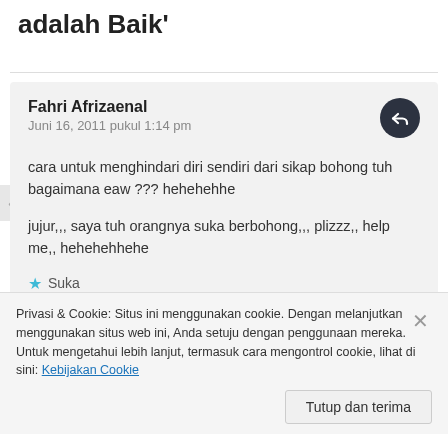adalah Baik'
Fahri Afrizaenal
Juni 16, 2011 pukul 1:14 pm

cara untuk menghindari diri sendiri dari sikap bohong tuh bagaimana eaw ??? hehehehhe

jujur,,, saya tuh orangnya suka berbohong,,, plizzz,, help me,, hehehehhehe

Suka
Privasi & Cookie: Situs ini menggunakan cookie. Dengan melanjutkan menggunakan situs web ini, Anda setuju dengan penggunaan mereka. Untuk mengetahui lebih lanjut, termasuk cara mengontrol cookie, lihat di sini: Kebijakan Cookie
Tutup dan terima